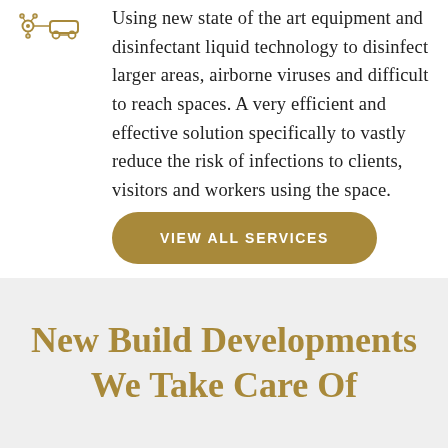[Figure (illustration): Golden/yellow icon with molecule/virus shapes and connected nodes, decorative service icon]
Using new state of the art equipment and disinfectant liquid technology to disinfect larger areas, airborne viruses and difficult to reach spaces. A very efficient and effective solution specifically to vastly reduce the risk of infections to clients, visitors and workers using the space.
VIEW ALL SERVICES
New Build Developments We Take Care Of